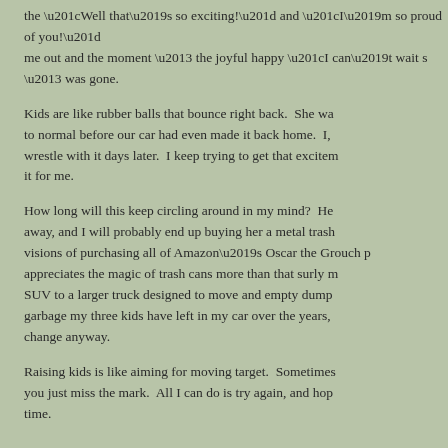the “Well that’s so exciting!” and “I’m so proud of you!” me out and the moment – the joyful happy “I can’t wait s – was gone.
Kids are like rubber balls that bounce right back.  She wa to normal before our car had even made it back home.  I, wrestle with it days later.  I keep trying to get that excitem it for me.
How long will this keep circling around in my mind?  He away, and I will probably end up buying her a metal trash visions of purchasing all of Amazon’s Oscar the Grouch p appreciates the magic of trash cans more than that surly m SUV to a larger truck designed to move and empty dump garbage my three kids have left in my car over the years, change anyway.
Raising kids is like aiming for moving target.  Sometimes you just miss the mark.  All I can do is try again, and hop time.